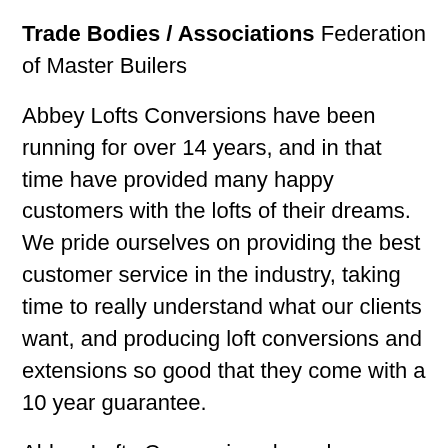Trade Bodies / Associations Federation of Master Builers
Abbey Lofts Conversions have been running for over 14 years, and in that time have provided many happy customers with the lofts of their dreams. We pride ourselves on providing the best customer service in the industry, taking time to really understand what our clients want, and producing loft conversions and extensions so good that they come with a 10 year guarantee.
Abbey Lofts Conversions have been running for over 14 years, and in that time have provided many happy customers with the lofts of their dreams. We pride ourselves on providing the best customer service in the industry, taking time to really understand what our clients want, and producing loft conversions and extensions so good that they come with a 10 year guarantee